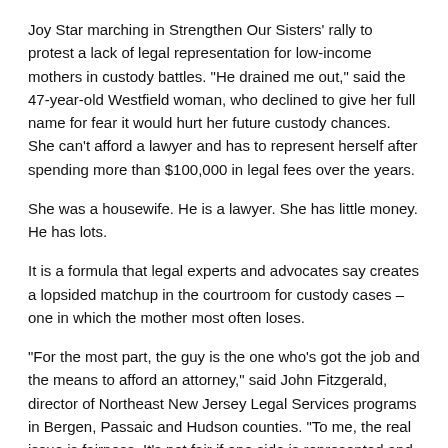Joy Star marching in Strengthen Our Sisters' rally to protest a lack of legal representation for low-income mothers in custody battles. "He drained me out," said the 47-year-old Westfield woman, who declined to give her full name for fear it would hurt her future custody chances. She can't afford a lawyer and has to represent herself after spending more than $100,000 in legal fees over the years.
She was a housewife. He is a lawyer. She has little money. He has lots.
It is a formula that legal experts and advocates say creates a lopsided matchup in the courtroom for custody cases – one in which the mother most often loses.
"For the most part, the guy is the one who's got the job and the means to afford an attorney," said John Fitzgerald, director of Northeast New Jersey Legal Services programs in Bergen, Passaic and Hudson counties. "To me, the real issue is fairness. It's not fair if one side is represented and the other side isn't."